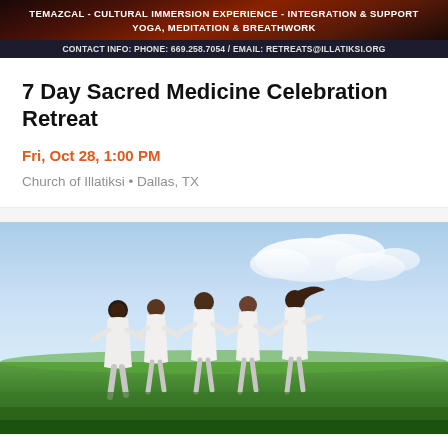TEMAZCAL - CULTURAL IMMERSION EXPERIENCE - INTEGRATION & SUPPORT
YOGA, MEDITATION & BREATHWORK
CONTACT INFO: PHONE: 669.258.7054 / EMAIL: RETREATS@ILLATIKSI.ORG
7 Day Sacred Medicine Celebration Retreat
Fri, Oct 28, 1:00 PM
Church of Illatiksi • Dallas, TX
[Figure (photo): Group of people dressed in white holding hands, running through a green grassy field under a blue sky with clouds, viewed from behind.]